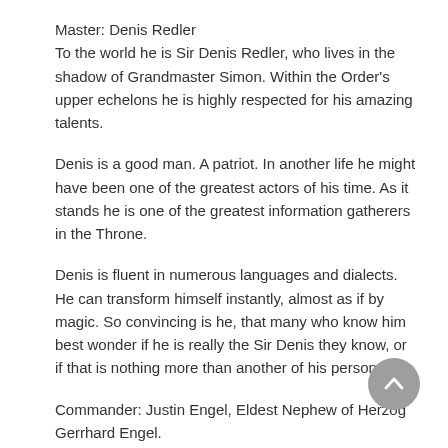Master: Denis Redler
To the world he is Sir Denis Redler, who lives in the shadow of Grandmaster Simon. Within the Order's upper echelons he is highly respected for his amazing talents.
Denis is a good man. A patriot. In another life he might have been one of the greatest actors of his time. As it stands he is one of the greatest information gatherers in the Throne.
Denis is fluent in numerous languages and dialects. He can transform himself instantly, almost as if by magic. So convincing is he, that many who know him best wonder if he is really the Sir Denis they know, or if that is nothing more than another of his personas.
Commander: Justin Engel, Eldest Nephew of Herzog Gerrhard Engel.
Sir Justin Engel is the Hammer of the order. He is an extremely